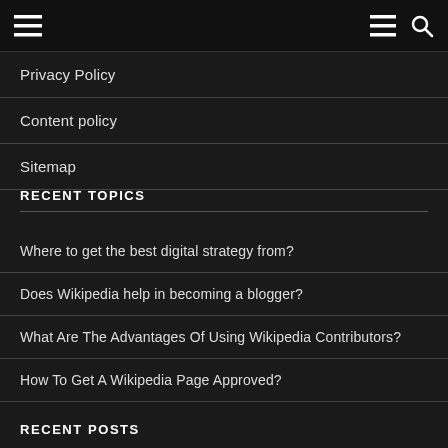[hamburger menu icon] [hamburger menu icon] [search icon]
Privacy Policy
Content policy
Sitemap
RECENT TOPICS
Where to get the best digital strategy from?
Does Wikipedia help in becoming a blogger?
What Are The Advantages Of Using Wikipedia Contributors?
How To Get A Wikipedia Page Approved?
RECENT POSTS